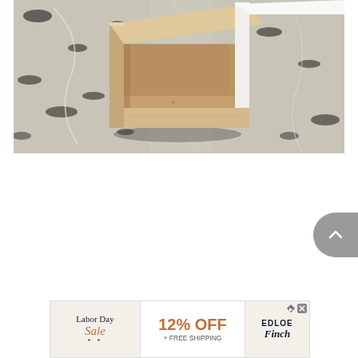[Figure (photo): Close-up photo of a wooden U-shaped channel or track piece sitting on a granite countertop. The wood piece is unfinished natural pine/balsa color with a white painted outer edge on the right side. The background shows a speckled gray-and-black granite surface.]
[Figure (infographic): Advertisement banner for Edloe Finch Labor Day Sale: '12% OFF + FREE SHIPPING'. Left section shows 'Labor Day Sale' in dark navy and orange italic script with star decorations on a light beige background. Middle section on white shows '12% OFF + FREE SHIPPING' in bold orange. Right section shows 'EDLOE Finch' brand name on beige background with ad icons.]